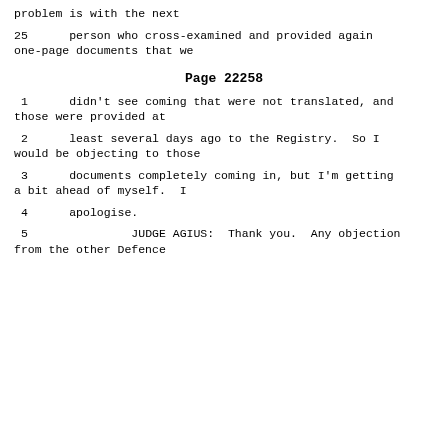problem is with the next
25      person who cross-examined and provided again one-page documents that we
Page 22258
1      didn't see coming that were not translated, and those were provided at
2      least several days ago to the Registry.  So I would be objecting to those
3      documents completely coming in, but I'm getting a bit ahead of myself.  I
4      apologise.
5               JUDGE AGIUS:  Thank you.  Any objection from the other Defence